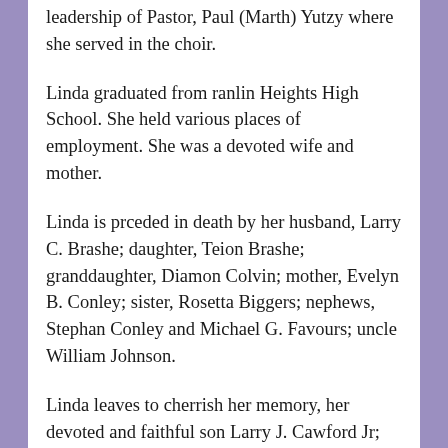leadership of Pastor, Paul (Marth) Yutzy where she served in the choir.
Linda graduated from ranlin Heights High School. She held various places of employment. She was a devoted wife and mother.
Linda is prceded in death by her husband, Larry C. Brashe; daughter, Teion Brashe; granddaughter, Diamon Colvin; mother, Evelyn B. Conley; sister, Rosetta Biggers; nephews, Stephan Conley and Michael G. Favours; uncle William Johnson.
Linda leaves to cherrish her memory, her devoted and faithful son Larry J. Cawford Jr; granddaughter, Tiara Colvin; great granddaughter Zhyairra avis; father, Robert Consley Sr; brothers, Robert Jr. Hans (cheryl), Fred Conley; aunt